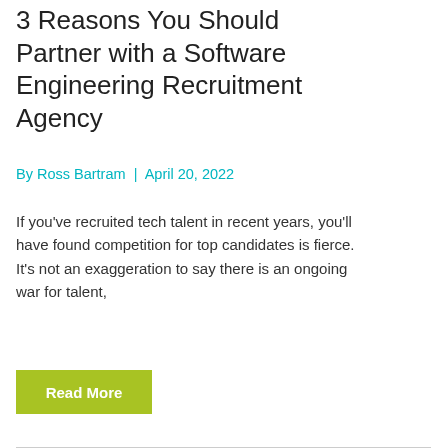3 Reasons You Should Partner with a Software Engineering Recruitment Agency
By Ross Bartram | April 20, 2022
If you’ve recruited tech talent in recent years, you’ll have found competition for top candidates is fierce. It’s not an exaggeration to say there is an ongoing war for talent,
Read More